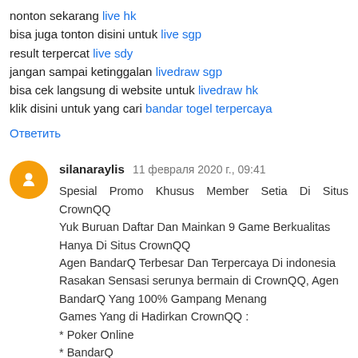nonton sekarang live hk
bisa juga tonton disini untuk live sgp
result terpercat live sdy
jangan sampai ketinggalan livedraw sgp
bisa cek langsung di website untuk livedraw hk
klik disini untuk yang cari bandar togel terpercaya
Ответить
silanaraylis  11 февраля 2020 г., 09:41
Spesial Promo Khusus Member Setia Di Situs CrownQQ Yuk Buruan Daftar Dan Mainkan 9 Game Berkualitas Hanya Di Situs CrownQQ
Agen BandarQ Terbesar Dan Terpercaya Di indonesia
Rasakan Sensasi serunya bermain di CrownQQ, Agen BandarQ Yang 100% Gampang Menang
Games Yang di Hadirkan CrownQQ :
* Poker Online
* BandarQ
* Domino99
* Bandar Sakong
* Sakong